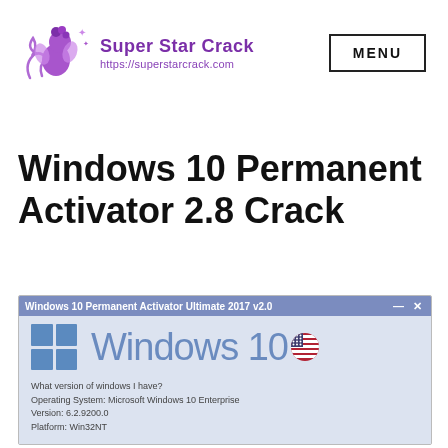[Figure (logo): Super Star Crack logo with purple fairy/star character, text 'Super Star Crack' in purple bold and 'https://superstarcrack.com' in purple below]
MENU
Windows 10 Permanent Activator 2.8 Crack
[Figure (screenshot): Screenshot of Windows 10 Permanent Activator Ultimate 2017 v2.0 application window showing Windows 10 logo with US flag, and system info: What version of windows I have? Operating System: Microsoft Windows 10 Enterprise, Version: 6.2.9200.0, Platform: Win32NT]